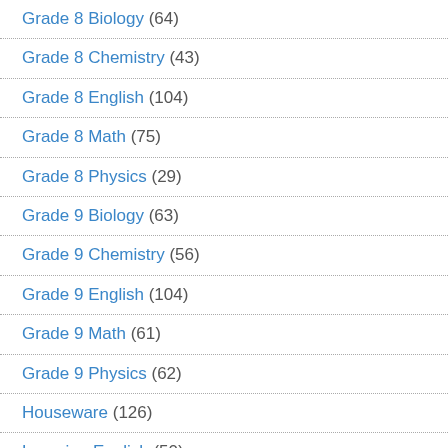Grade 8 Biology (64)
Grade 8 Chemistry (43)
Grade 8 English (104)
Grade 8 Math (75)
Grade 8 Physics (29)
Grade 9 Biology (63)
Grade 9 Chemistry (56)
Grade 9 English (104)
Grade 9 Math (61)
Grade 9 Physics (62)
Houseware (126)
Learning English (50)